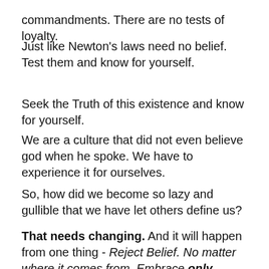commandments. There are no tests of loyalty.
Just like Newton's laws need no belief. Test them and know for yourself.
Seek the Truth of this existence and know for yourself.
We are a culture that did not even believe god when he spoke. We have to experience it for ourselves.
So, how did we become so lazy and gullible that we have let others define us?
That needs changing. And it will happen from one thing - Reject Belief. No matter where it comes from. Embrace only Seeking and Experience.
william dalrymple: the entitled religious apologist